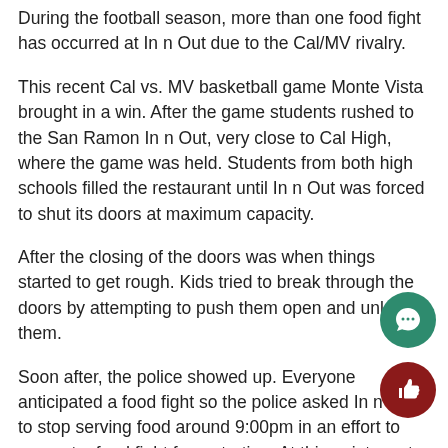During the football season, more than one food fight has occurred at In n Out due to the Cal/MV rivalry.
This recent Cal vs. MV basketball game Monte Vista brought in a win. After the game students rushed to the San Ramon In n Out, very close to Cal High, where the game was held. Students from both high schools filled the restaurant until In n Out was forced to shut its doors at maximum capacity.
After the closing of the doors was when things started to get rough. Kids tried to break through the doors by attempting to push them open and unlock them.
Soon after, the police showed up. Everyone anticipated a food fight so the police asked In n Out to stop serving food around 9:00pm in an effort to prevent a food fight from starting. At this point most kids had gone outside and by the outdoor tables.
It is unknown who started the fight. A video posted on Youtube by senior Matt Rood shows that two students from each school began arguing.